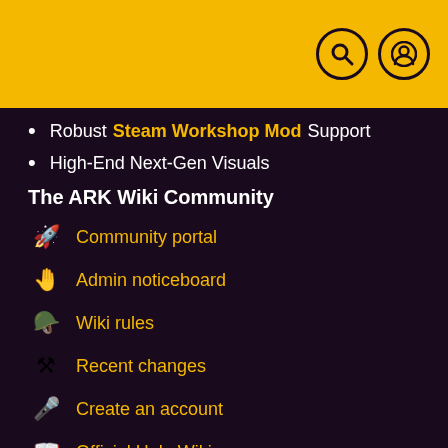ARK Wiki header with search and user icons
Robust Steam Workshop Mod Support
High-End Next-Gen Visuals
The ARK Wiki Community
Community portal
Admin noticeboard
Wiki rules
Recent changes
Create an account
Official Help Wiki
How to help
New pages
Style guide
General disclaimer
Missing pages